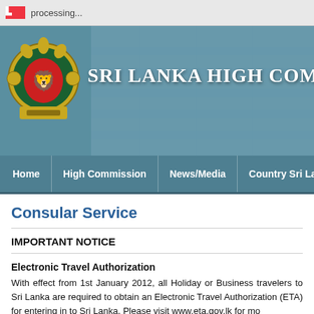processing...
[Figure (screenshot): Sri Lanka High Commission website header banner with coat of arms logo and title 'SRI LANKA HIGH COM...' on a blue stone staircase background]
Home | High Commission | News/Media | Country Sri Lanka | Trade & I...
Consular Service
IMPORTANT NOTICE
Electronic Travel Authorization
With effect from 1st January 2012, all Holiday or Business travelers to Sri Lanka are required to obtain an Electronic Travel Authorization (ETA) for entering in to Sri Lanka. Please visit www.eta.gov.lk for mo...
When applying ETA by third parties payments are to be made through...